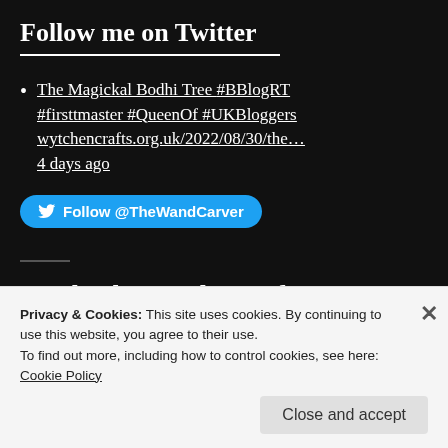Follow me on Twitter
The Magickal Bodhi Tree #BBlogRT #firsttmaster #QueenOf #UKBloggers wytchencrafts.org.uk/2022/08/30/the… 4 days ago
[Figure (other): Twitter Follow @TheWandCarver button (blue pill-shaped button with bird icon)]
Facebook: Wytchencrafts
Privacy & Cookies: This site uses cookies. By continuing to use this website, you agree to their use. To find out more, including how to control cookies, see here: Cookie Policy
Close and accept